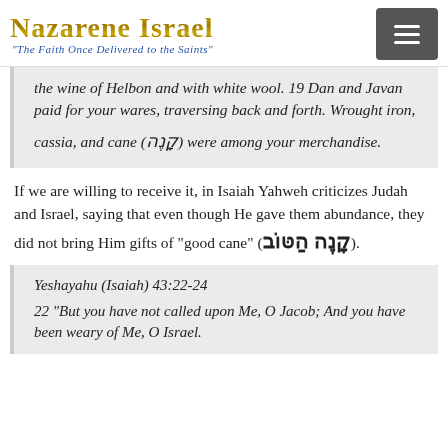Nazarene Israel — "The Faith Once Delivered to the Saints"
the wine of Helbon and with white wool. 19 Dan and Javan paid for your wares, traversing back and forth. Wrought iron, cassia, and cane (קָנֶה) were among your merchandise.
If we are willing to receive it, in Isaiah Yahweh criticizes Judah and Israel, saying that even though He gave them abundance, they did not bring Him gifts of "good cane" (קָנֶה הַטּוֹב).
Yeshayahu (Isaiah) 43:22-24
22 "But you have not called upon Me, O Jacob; And you have been weary of Me, O Israel.